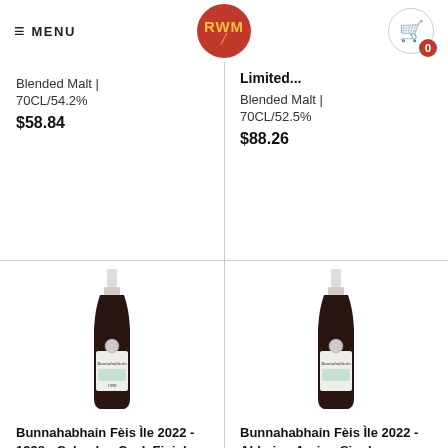≡ MENU | RWM | 🛒 0
Limited...
Blended Malt | 70CL/54.2%
$58.84
Blended Malt | 70CL/52.5%
$88.26
[Figure (photo): Bunnahabhain whisky bottle with white label]
Bunnahabhain Fèis Ìle 2022 - 1998 - Calvados Cask Finish...
New Arrivals | 70CL/49.7%
[Figure (photo): Bunnahabhain whisky bottle with white label]
Bunnahabhain Fèis Ìle 2022 - Abhainn Araig - Single...
New Arrivals | 70CL/50.8%